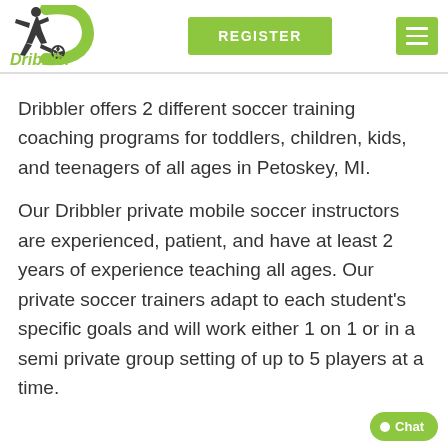[Figure (logo): Dribbler soccer training logo with silhouette of soccer player kicking ball and green D swoosh, with 'Dribbler' text in green below]
REGISTER
Dribbler offers 2 different soccer training coaching programs for toddlers, children, kids, and teenagers of all ages in Petoskey, MI.
Our Dribbler private mobile soccer instructors are experienced, patient, and have at least 2 years of experience teaching all ages. Our private soccer trainers adapt to each student's specific goals and will work either 1 on 1 or in a semi private group setting of up to 5 players at a time.